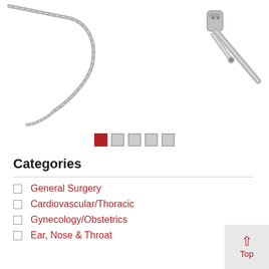[Figure (photo): Medical instrument photo showing a flexible surgical cable/wire on the left side and a metallic connector/tip component on the upper right, all on white background.]
[Figure (other): Pagination indicator with 5 square dots; first dot filled red (active), remaining four filled gray (inactive).]
Categories
General Surgery
Cardiovascular/Thoracic
Gynecology/Obstetrics
Ear, Nose & Throat